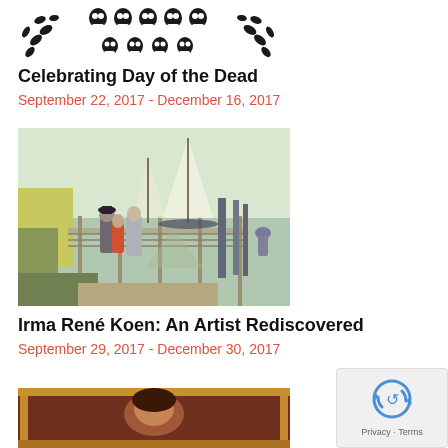[Figure (illustration): Decorative black ornamental pattern — Day of the Dead themed skulls and floral motifs in a rectangular banner]
Celebrating Day of the Dead
September 22, 2017 - December 16, 2017
[Figure (photo): Impressionist painting of figures on a dock or pier with sailboats on a bright sunny day — Irma René Koen artwork]
Irma René Koen: An Artist Rediscovered
September 29, 2017 - December 30, 2017
[Figure (photo): Partial view of a painting with warm brown and red tones — third exhibition item, partially cropped]